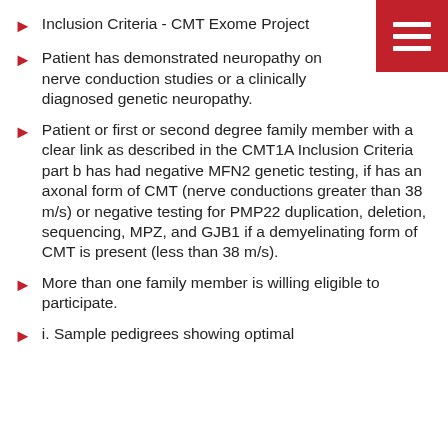[Figure (other): Red square menu icon with three horizontal white lines (hamburger menu) in the top-right corner]
Inclusion Criteria - CMT Exome Project
Patient has demonstrated neuropathy on nerve conduction studies or a clinically diagnosed genetic neuropathy.
Patient or first or second degree family member with a clear link as described in the CMT1A Inclusion Criteria part b has had negative MFN2 genetic testing, if has an axonal form of CMT (nerve conductions greater than 38 m/s) or negative testing for PMP22 duplication, deletion, sequencing, MPZ, and GJB1 if a demyelinating form of CMT is present (less than 38 m/s).
More than one family member is willing eligible to participate.
i. Sample pedigrees showing optimal